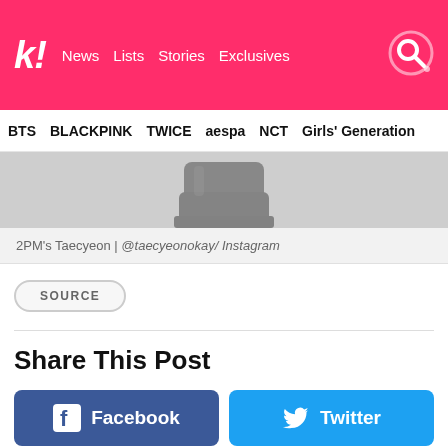k! News Lists Stories Exclusives
BTS BLACKPINK TWICE aespa NCT Girls' Generation
[Figure (photo): Partial photo of 2PM's Taecyeon showing black boots/shoes at bottom of frame against a light background]
2PM's Taecyeon | @taecyeonokay/ Instagram
SOURCE
Share This Post
Facebook
Twitter